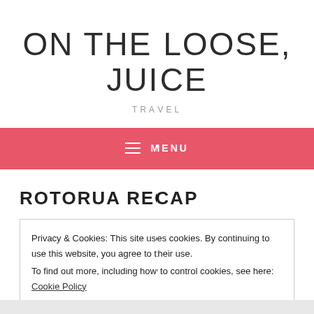ON THE LOOSE, JUICE
TRAVEL
≡ MENU
ROTORUA RECAP
Privacy & Cookies: This site uses cookies. By continuing to use this website, you agree to their use.
To find out more, including how to control cookies, see here: Cookie Policy
Close and accept